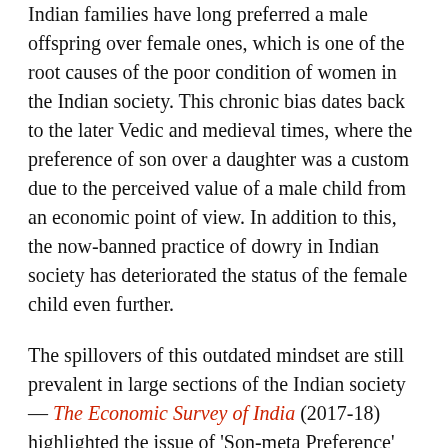Indian families have long preferred a male offspring over female ones, which is one of the root causes of the poor condition of women in the Indian society. This chronic bias dates back to the later Vedic and medieval times, where the preference of son over a daughter was a custom due to the perceived value of a male child from an economic point of view. In addition to this, the now-banned practice of dowry in Indian society has deteriorated the status of the female child even further.
The spillovers of this outdated mindset are still prevalent in large sections of the Indian society — The Economic Survey of India (2017-18) highlighted the issue of 'Son-meta Preference' which means that Indian parents continue to have more children until a desired male child is born. This also impacts the resources available to female children in comparison to their male counterparts in the context of skill development. The repercussions of this menace are reflected in the wide gap between the male and female labour participation